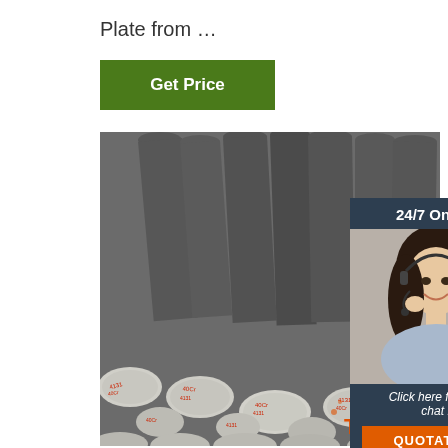Plate from …
[Figure (other): Green 'Get Price' button]
[Figure (photo): Stack of steel round bars/rods with red Chinese characters stamped on the ends]
[Figure (infographic): 24/7 Online chat widget with a customer service representative photo, 'Click here for free chat!' text, and an orange QUOTATION button]
[Figure (logo): TOP logo in orange with decorative dots]